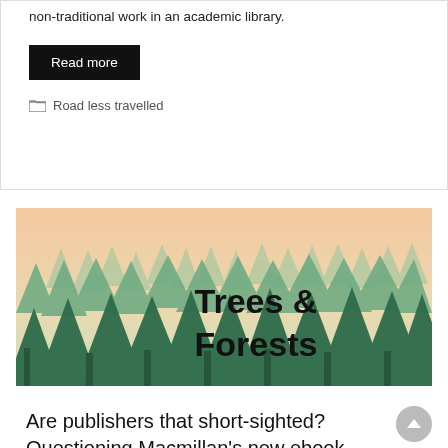non-traditional work in an academic library.
Read more
Road less travelled
[Figure (illustration): Forest illustration with layered silhouettes of pine trees in various shades of green against a warm peachy-yellow sky gradient, with bold text overlay reading 'Trees & Forests']
Are publishers that short-sighted? Questioning Macmillan's new ebook